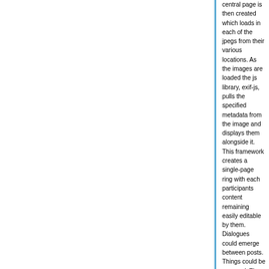central page is then created which loads in each of the jpegs from their various locations. As the images are loaded the js library, exif-js, pulls the specified metadata from the image and displays them alongside it. This framework creates a single-page ring with each participants content remaining easily editable by them. Dialogues could emerge between posts. Things could be removed. The images could exist without revealing their metadata on other websites or spaces. This practice, again, appears to replicate things achievable using conventional tools and platforms, but through a process that is ceding control to its participants at each step.
Lossy
Slightly more tangential are experiments